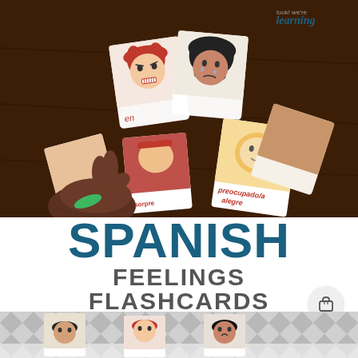[Figure (photo): A child's hand holding two Spanish feelings flashcards showing cartoon faces (an angry face and a sad/worried face), with several more flashcards spread on a wooden table in the background. Cards visible include ones labeled 'preocupado/a', 'alegre', 'sorpre', 'su'. Top right shows 'look! we're learning' logo.]
SPANISH FEELINGS FLASHCARDS
[Figure (photo): Bottom strip showing cartoon face flashcards on a chevron-patterned background, with faces of children with different hair colors/styles.]